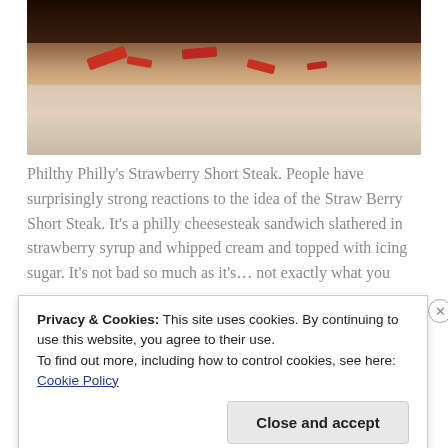[Figure (photo): Close-up photo of a food item (Philthy Philly's Strawberry Short Steak) — a philly cheesesteak sandwich with dark toppings and red strawberry sauce visible on white wrapping paper]
Philthy Philly's Strawberry Short Steak. People have surprisingly strong reactions to the idea of the Straw Berry Short Steak. It's a philly cheesesteak sandwich slathered in strawberry syrup and whipped cream and topped with icing sugar. It's not bad so much as it's… not exactly what you
Privacy & Cookies: This site uses cookies. By continuing to use this website, you agree to their use.
To find out more, including how to control cookies, see here: Cookie Policy
Close and accept